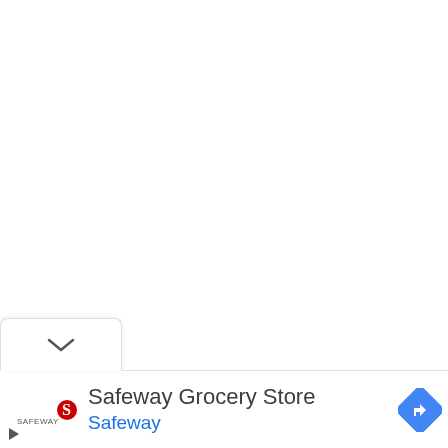[Figure (screenshot): Google Maps view — mostly white/blank map area]
[Figure (other): Collapse/chevron button panel at bottom of map]
Safeway Grocery Store
Safeway
[Figure (logo): Safeway logo — red S icon with 'SAFEWAY' text]
[Figure (other): Blue diamond navigation/directions icon with white right-turn arrow]